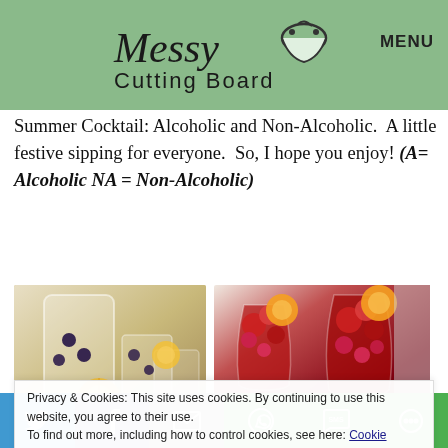Messy Cutting Board — MENU
Summer Cocktail: Alcoholic and Non-Alcoholic.  A little festive sipping for everyone.  So, I hope you enjoy! (A= Alcoholic NA = Non-Alcoholic)
[Figure (photo): Two glasses of light-colored drink with citrus and blueberries and a pitcher in the background]
[Figure (photo): Two wine glasses filled with dark red sangria topped with strawberries, raspberries, and orange slices]
Privacy & Cookies: This site uses cookies. By continuing to use this website, you agree to their use. To find out more, including how to control cookies, see here: Cookie Policy
Twitter | Facebook | Email | WhatsApp | SMS | More